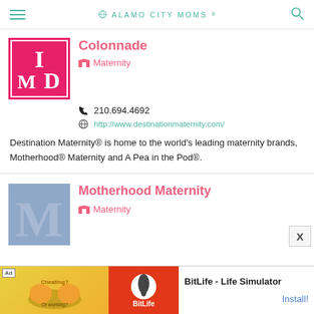ALAMO CITY MOMS
[Figure (logo): Destination Maternity logo — hot pink square with white letters I, M, D]
Colonnade
Maternity
210.694.4692
http://www.destinationmaternity.com/
Destination Maternity® is home to the world's leading maternity brands, Motherhood® Maternity and A Pea in the Pod®.
[Figure (logo): Motherhood Maternity logo — light blue square with large grey letter M]
Motherhood Maternity
Maternity
[Figure (screenshot): Ad banner: BitLife - Life Simulator advertisement with cheating/working graphic and BitLife logo]